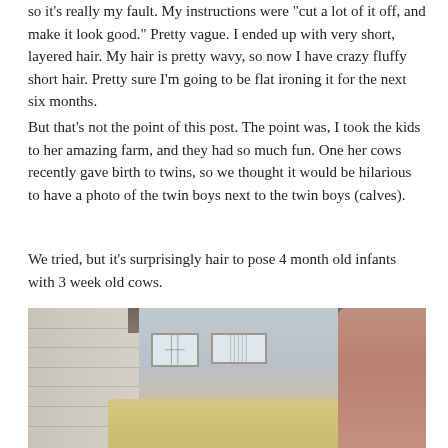so it's really my fault. My instructions were "cut a lot of it off, and make it look good." Pretty vague. I ended up with very short, layered hair. My hair is pretty wavy, so now I have crazy fluffy short hair. Pretty sure I'm going to be flat ironing it for the next six months.
But that's not the point of this post. The point was, I took the kids to her amazing farm, and they had so much fun. One her cows recently gave birth to twins, so we thought it would be hilarious to have a photo of the twin boys next to the twin boys (calves).
We tried, but it's surprisingly hair to pose 4 month old infants with 3 week old cows.
[Figure (photo): Interior of a barn with wooden walls and stalls. Two wire-gated windows or stall dividers visible in the background. A large pile of hay/straw in the foreground. A person wearing a reddish-brown coat is visible on the right side.]